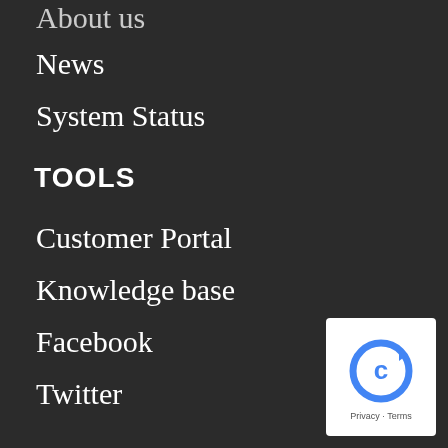About us
News
System Status
TOOLS
Customer Portal
Knowledge base
Facebook
Twitter
[Figure (logo): Google reCAPTCHA badge with blue circular arrow icon, Privacy and Terms links]